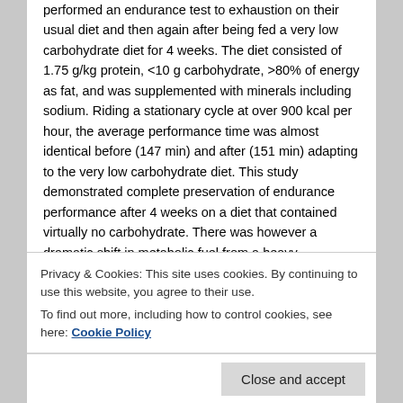performed an endurance test to exhaustion on their usual diet and then again after being fed a very low carbohydrate diet for 4 weeks. The diet consisted of 1.75 g/kg protein, <10 g carbohydrate, >80% of energy as fat, and was supplemented with minerals including sodium. Riding a stationary cycle at over 900 kcal per hour, the average performance time was almost identical before (147 min) and after (151 min) adapting to the very low carbohydrate diet. This study demonstrated complete preservation of endurance performance after 4 weeks on a diet that contained virtually no carbohydrate. There was however a dramatic shift in metabolic fuel from a heavy dependence on carbohydrate to nearly complete reliance on fat in the keto-adapted cyclists. The rate of fat use during the exercise test at 64% VO2max was
Privacy & Cookies: This site uses cookies. By continuing to use this website, you agree to their use.
To find out more, including how to control cookies, see here: Cookie Policy
Close and accept
fat/hour) observed by Voancies et al[9], that value is still